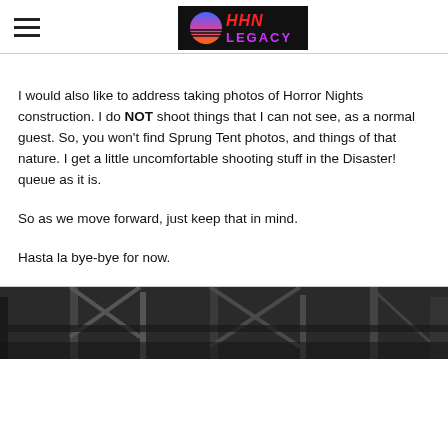HHN LEGACY (logo)
I would also like to address taking photos of Horror Nights construction. I do NOT shoot things that I can not see, as a normal guest. So, you won't find Sprung Tent photos, and things of that nature. I get a little uncomfortable shooting stuff in the Disaster! queue as it is.
So as we move forward, just keep that in mind.
Hasta la bye-bye for now.
[Figure (photo): Bottom portion of a photo showing dark metal scaffolding/structure against a dark background, partially visible at bottom of page.]